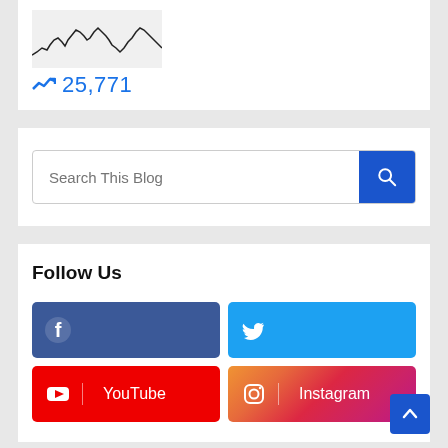[Figure (continuous-plot): Small sparkline chart thumbnail showing traffic/stats over time with jagged black line peaks]
25,771
Search This Blog
Follow Us
YouTube
Instagram
Popular Posts